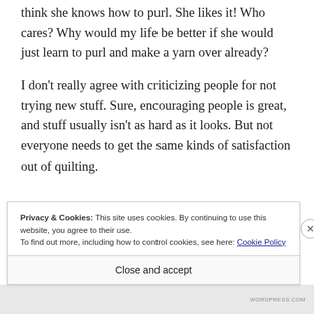think she knows how to purl. She likes it! Who cares? Why would my life be better if she would just learn to purl and make a yarn over already?
I don't really agree with criticizing people for not trying new stuff. Sure, encouraging people is great, and stuff usually isn't as hard as it looks. But not everyone needs to get the same kinds of satisfaction out of quilting.
Privacy & Cookies: This site uses cookies. By continuing to use this website, you agree to their use. To find out more, including how to control cookies, see here: Cookie Policy
Close and accept